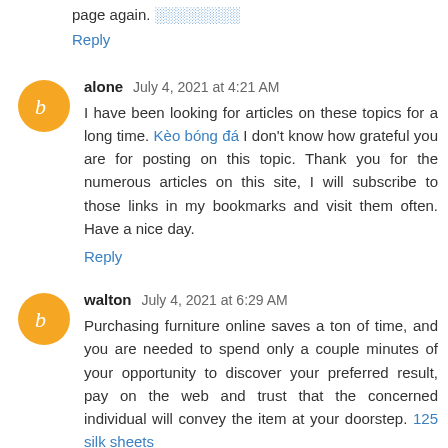page again. ░░░░░░░░
Reply
alone  July 4, 2021 at 4:21 AM
I have been looking for articles on these topics for a long time. Kèo bóng đá I don't know how grateful you are for posting on this topic. Thank you for the numerous articles on this site, I will subscribe to those links in my bookmarks and visit them often. Have a nice day.
Reply
walton  July 4, 2021 at 6:29 AM
Purchasing furniture online saves a ton of time, and you are needed to spend only a couple minutes of your opportunity to discover your preferred result, pay on the web and trust that the concerned individual will convey the item at your doorstep. 125 silk sheets